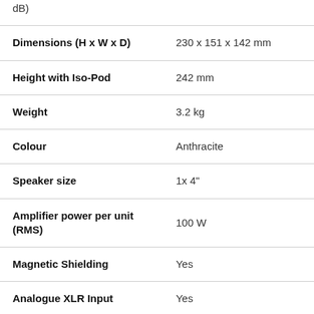| Property | Value |
| --- | --- |
| dB) |  |
| Dimensions (H x W x D) | 230 x 151 x 142 mm |
| Height with Iso-Pod | 242 mm |
| Weight | 3.2 kg |
| Colour | Anthracite |
| Speaker size | 1x 4" |
| Amplifier power per unit (RMS) | 100 W |
| Magnetic Shielding | Yes |
| Analogue XLR Input | Yes |
| Analogue Input (Jack) | No |